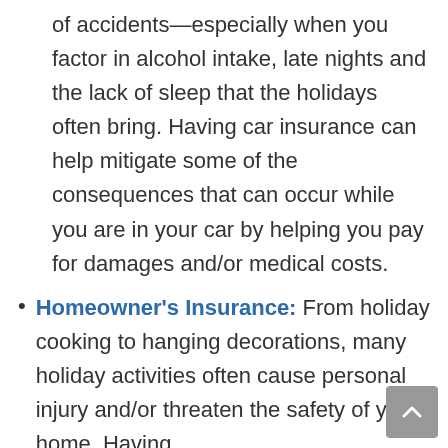of accidents—especially when you factor in alcohol intake, late nights and the lack of sleep that the holidays often bring. Having car insurance can help mitigate some of the consequences that can occur while you are in your car by helping you pay for damages and/or medical costs.
Homeowner's Insurance: From holiday cooking to hanging decorations, many holiday activities often cause personal injury and/or threaten the safety of your home. Having